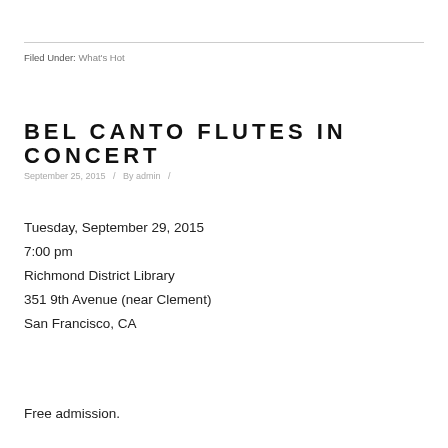Filed Under: What's Hot
BEL CANTO FLUTES IN CONCERT
September 25, 2015   /   By admin   /
Tuesday, September 29, 2015
7:00 pm
Richmond District Library
351 9th Avenue (near Clement)
San Francisco, CA
Free admission.